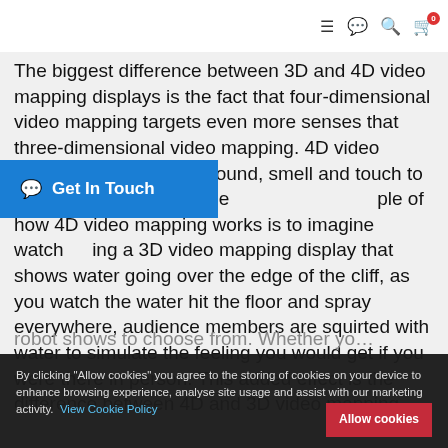≡ 💬 🔍 🛒0
The biggest difference between 3D and 4D video mapping displays is the fact that four-dimensional video mapping targets even more senses that three-dimensional video mapping. 4D video mapping targets sight, sound, smell and touch to create a fully immersive e… example of how 4D video mapping works is to imagine watching a 3D video mapping display that shows water going over the edge of the cliff, as you watch the water hit the floor and spray everywhere, audience members are squirted with water to simulate the feeling you would get if you were there in person. This added effect is the difference between 4D and 3D video mapping.
💬 Get In Touch
By clicking "Allow cookies" you agree to the storing of cookies on your device to enhance browsing experience, analyse site usage and assist with our marketing activity. View Cookie Policy    Allow cookies
robot shows to choose from. Whether yo…